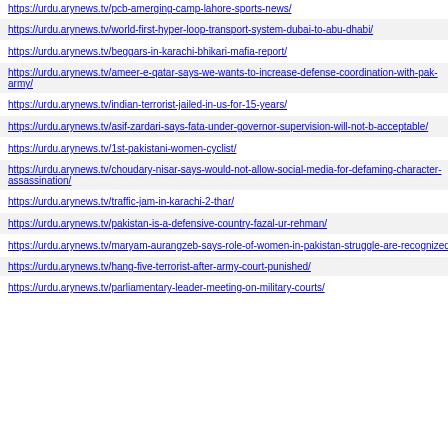https://urdu.arynews.tv/pcb-amerging-camp-lahore-sports-news/
https://urdu.arynews.tv/world-first-hyper-loop-transport-system-dubai-to-abu-dhabi/
https://urdu.arynews.tv/beggars-in-karachi-bhikari-mafia-report/
https://urdu.arynews.tv/ameer-e-qatar-says-we-wants-to-increase-defense-coordination-with-pak-army/
https://urdu.arynews.tv/indian-terrorist-jailed-in-us-for-15-years/
https://urdu.arynews.tv/asif-zardari-says-fata-under-governor-supervision-will-not-b-acceptable/
https://urdu.arynews.tv/1st-pakistani-women-cyclist/
https://urdu.arynews.tv/choudary-nisar-says-would-not-allow-social-media-for-defaming-character-assassination/
https://urdu.arynews.tv/traffic-jam-in-karachi-2-thar/
https://urdu.arynews.tv/pakistan-is-a-defensive-country-fazal-ur-rehman/
https://urdu.arynews.tv/maryam-aurangzeb-says-role-of-women-in-pakistan-struggle-are-recognized/
https://urdu.arynews.tv/hang-five-terrorist-after-army-court-punished/
https://urdu.arynews.tv/parliamentary-leader-meeting-on-military-courts/